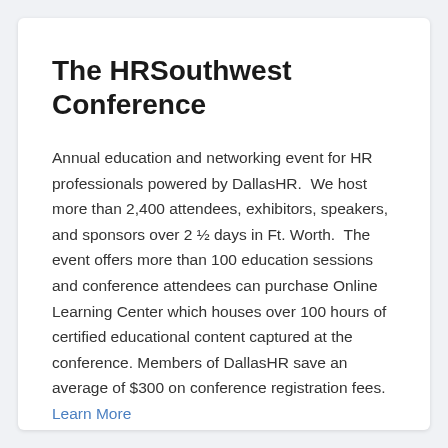The HRSouthwest Conference
Annual education and networking event for HR professionals powered by DallasHR.  We host more than 2,400 attendees, exhibitors, speakers, and sponsors over 2 ½ days in Ft. Worth.  The event offers more than 100 education sessions and conference attendees can purchase Online Learning Center which houses over 100 hours of certified educational content captured at the conference. Members of DallasHR save an average of $300 on conference registration fees. Learn More